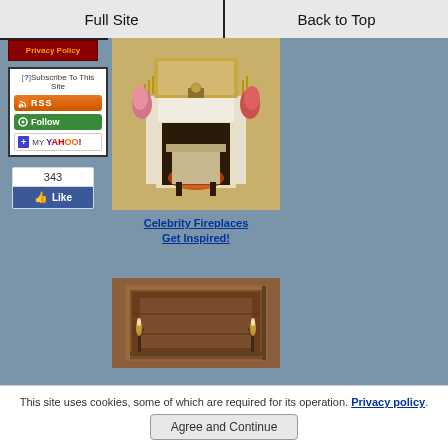Full Site | Back to Top
Privacy Policy
[?]Subscribe To This Site
[Figure (screenshot): RSS subscription button (orange)]
[Figure (screenshot): Follow button (green)]
[Figure (screenshot): My Yahoo! add button]
343 Like
[Figure (photo): Ornate white fireplace mantel with candlesticks, clock, flowers, and armchair with fire burning]
Celebrity Fireplaces
Get Inspired!
[Figure (photo): Wood paneled fireplace surround with wall sconces]
This site uses cookies, some of which are required for its operation. Privacy policy
Agree and Continue